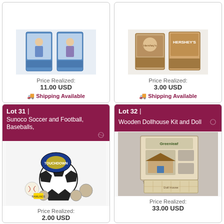[Figure (photo): Partial view of collectible figurines/toys in packaging (top left, cropped)]
Price Realized:
11.00 USD
🚚 Shipping Available
[Figure (photo): Partial view of Hershey's tin and collectible items (top right, cropped)]
Price Realized:
3.00 USD
🚚 Shipping Available
Lot 31 | Sunoco Soccer and Football, Baseballs,
[Figure (photo): Collection of sports balls including a blue and yellow Sunoco football, soccer ball, and several baseballs]
Price Realized:
2.00 USD
Lot 32 | Wooden Dollhouse Kit and Doll
[Figure (photo): Greenleaf wooden dollhouse kit box - The Arthur Wooden Dollhouse Kit]
Price Realized:
33.00 USD